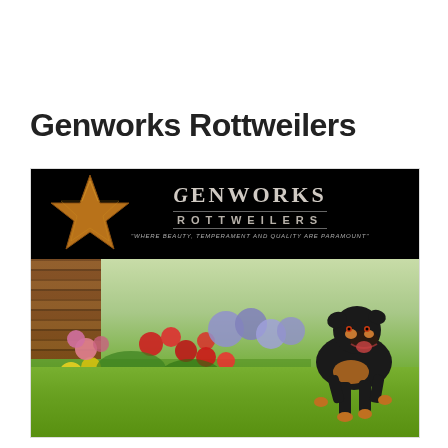Genworks Rottweilers
[Figure (photo): Genworks Rottweilers banner and logo with a large bronze star on a black background with text 'GENWORKS ROTTWEILERS' and tagline 'Where beauty, temperament and quality are paramount', above a photo of a Rottweiler puppy running on a green lawn with colorful flower garden and brick building in background.]